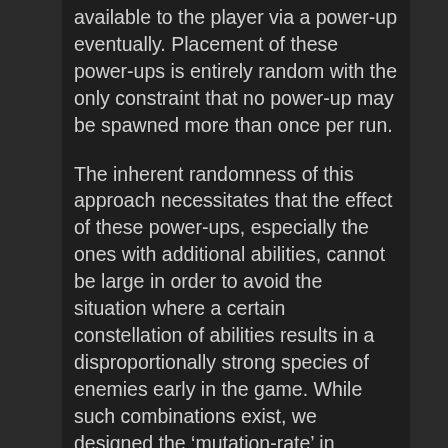available to the player via a power-up eventually. Placement of these power-ups is entirely random with the only constraint that no power-up may be spawned more than once per run.
The inherent randomness of this approach necessitates that the effect of these power-ups, especially the ones with additional abilities, cannot be large in order to avoid the situation where a certain constellation of abilities results in a disproportionally strong species of enemies early in the game. While such combinations exist, we designed the 'mutation-rate' in enemies vs the spawn-rate of power-ups available to the player in such a way that it is way more (but still not very) likely for the player to have such a combination than it is for an enemy to ‘evolve’ one.
Visual and Sound effects
A big part of the ‘lore’ of the game, if you want to go so far as to call it that, is conveyed through visual effects which are for the most part realized using a chain of post-